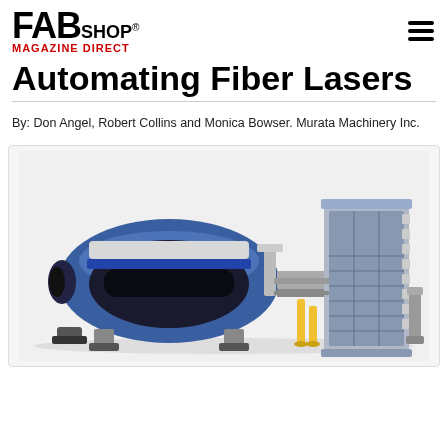FAB SHOP MAGAZINE DIRECT
Automating Fiber Lasers
By: Don Angel, Robert Collins and Monica Bowser. Murata Machinery Inc.
[Figure (photo): A fiber laser cutting machine with automated material handling system, showing a blue and white laser cutting enclosure on the left connected to a vertical tower-style material storage and handling unit on the right, with yellow safety posts in the center.]